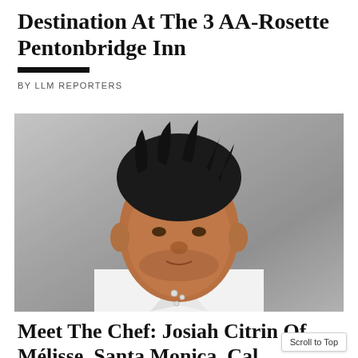Destination At The 3 AA-Rosette Pentonbridge Inn
BY LLM REPORTERS
[Figure (photo): Portrait photograph of a male chef with tousled dark hair wearing a white chef's coat, photographed against a grey concrete background]
Meet The Chef: Josiah Citrin Of Mélisse, Santa Monica, Cal…
Scroll to Top